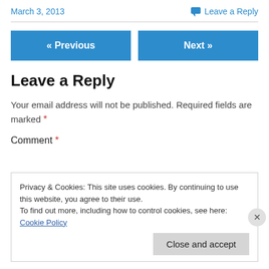March 3, 2013
Leave a Reply
« Previous
Next »
Leave a Reply
Your email address will not be published. Required fields are marked *
Comment *
Privacy & Cookies: This site uses cookies. By continuing to use this website, you agree to their use.
To find out more, including how to control cookies, see here: Cookie Policy
Close and accept